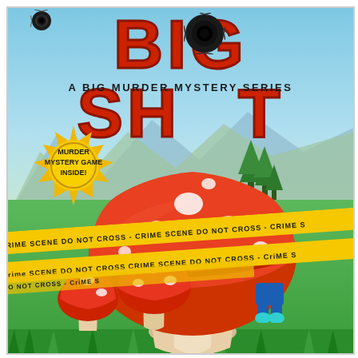[Figure (illustration): Book cover for 'BIG SHOT: A Big Murder Mystery Series'. Features large red bold text 'BIG SHOT' at top with bullet holes, subtitle 'A BIG MURDER MYSTERY SERIES', a colorful illustrated scene with a large red-capped mushroom wrapped in yellow crime scene tape in a green meadow with mountains in background. A gold badge reads 'MURDER MYSTERY GAME INSIDE!'. Legs of a victim peek out from behind the mushroom at bottom right.]